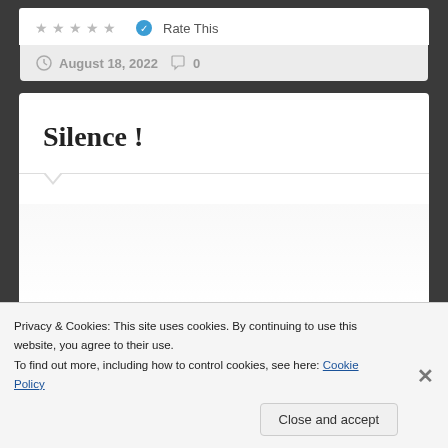Rate This
August 18, 2022   0
Silence !
Privacy & Cookies: This site uses cookies. By continuing to use this website, you agree to their use.
To find out more, including how to control cookies, see here: Cookie Policy
Close and accept